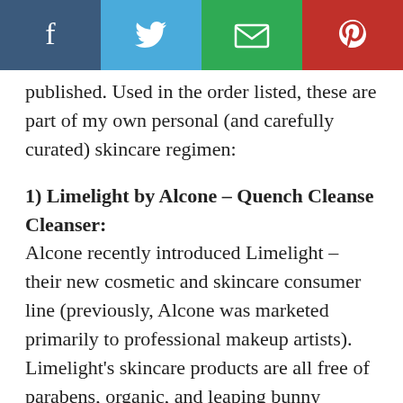[Figure (other): Social sharing bar with Facebook, Twitter, email, and Pinterest buttons]
published. Used in the order listed, these are part of my own personal (and carefully curated) skincare regimen:
1) Limelight by Alcone – Quench Cleanse Cleanser: Alcone recently introduced Limelight – their new cosmetic and skincare consumer line (previously, Alcone was marketed primarily to professional makeup artists). Limelight's skincare products are all free of parabens, organic, and leaping bunny certified. This cleanser in particular is crafted using aloe Vera, rose flower water, wheat germ oil, and foraha fruit seed oil – all of which together heal and hydrate the skin, treat eczema, psoriasis, and stretch marks, and support cellular